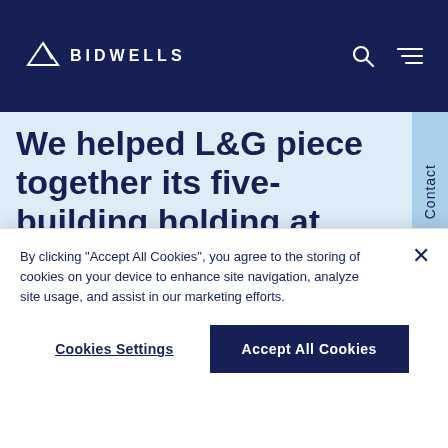BIDWELLS
We helped L&G piece together its five-building holding at Cambridge Science Park by advising
By clicking "Accept All Cookies", you agree to the storing of cookies on your device to enhance site navigation, analyze site usage, and assist in our marketing efforts.
Cookies Settings
Accept All Cookies